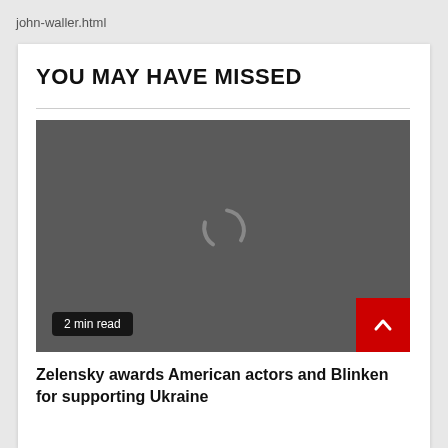john-waller.html
YOU MAY HAVE MISSED
[Figure (photo): Dark gray placeholder image with a loading spinner icon in the center, and a '2 min read' badge at the bottom left. A red scroll-to-top button with a chevron arrow is at the bottom right.]
Zelensky awards American actors and Blinken for supporting Ukraine